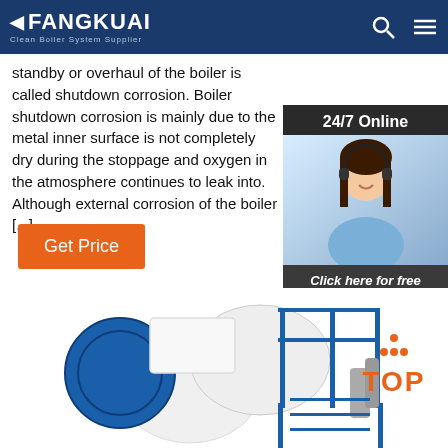FANGKUAI Clean Boiler System Supplier
standby or overhaul of the boiler is called shutdown corrosion. Boiler shutdown corrosion is mainly due to the metal inner surface is not completely dry during the stoppage and oxygen in the atmosphere continues to leak into. Although external corrosion of the boiler [...]
Get Price
[Figure (photo): Customer service representative wearing a headset, smiling, with '24/7 Online' header and 'Click here for free chat!' and 'QUOTATION' button in a dark overlay widget]
[Figure (photo): Industrial boiler system in blue and white colors with walkway/railing structure]
[Figure (other): TOP badge with orange dots in triangle pattern and orange TOP text]